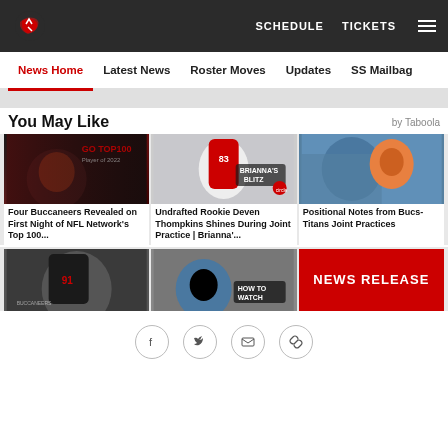Tampa Bay Buccaneers — SCHEDULE  TICKETS
News Home  Latest News  Roster Moves  Updates  SS Mailbag
You May Like  by Taboola
[Figure (photo): Football player close-up portrait with red background]
[Figure (photo): Player #83 catching a football during practice, Brianna's Blitz logo]
[Figure (photo): Players in blue and orange uniforms during joint practice]
Four Buccaneers Revealed on First Night of NFL Network's Top 100...
Undrafted Rookie Deven Thompkins Shines During Joint Practice | Brianna'...
Positional Notes from Bucs-Titans Joint Practices
[Figure (photo): Buccaneers player #91 in uniform]
[Figure (photo): How to Watch graphic with players]
[Figure (other): News Release graphic with red background]
Social sharing icons: Facebook, Twitter, Email, Link